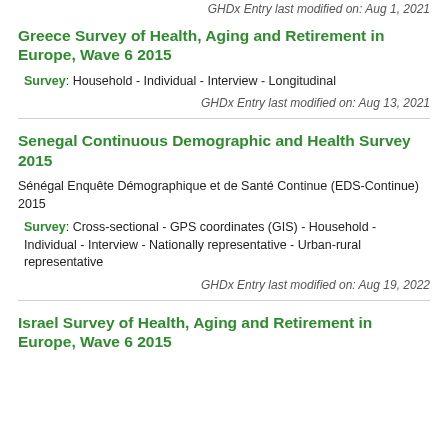GHDx Entry last modified on: Aug 1, 2021
Greece Survey of Health, Aging and Retirement in Europe, Wave 6 2015
Survey: Household - Individual - Interview - Longitudinal
GHDx Entry last modified on: Aug 13, 2021
Senegal Continuous Demographic and Health Survey 2015
Sénégal Enquête Démographique et de Santé Continue (EDS-Continue) 2015
Survey: Cross-sectional - GPS coordinates (GIS) - Household - Individual - Interview - Nationally representative - Urban-rural representative
GHDx Entry last modified on: Aug 19, 2022
Israel Survey of Health, Aging and Retirement in Europe, Wave 6 2015